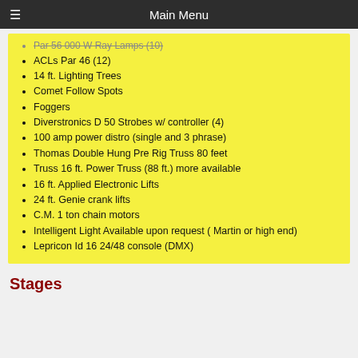Main Menu
Par 56 000 W Ray Lamps (10)
ACLs Par 46 (12)
14 ft. Lighting Trees
Comet Follow Spots
Foggers
Diverstronics D 50 Strobes w/ controller (4)
100 amp power distro (single and 3 phrase)
Thomas Double Hung Pre Rig Truss 80 feet
Truss 16 ft. Power Truss (88 ft.) more available
16 ft. Applied Electronic Lifts
24 ft. Genie crank lifts
C.M. 1 ton chain motors
Intelligent Light Available upon request ( Martin or high end)
Lepricon Id 16 24/48 console (DMX)
Stages